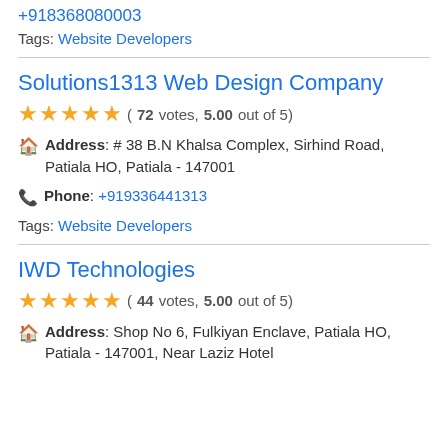+918368080003
Tags: Website Developers
Solutions1313 Web Design Company
(72 votes, 5.00 out of 5)
Address: # 38 B.N Khalsa Complex, Sirhind Road, Patiala HO, Patiala - 147001
Phone: +919336441313
Tags: Website Developers
IWD Technologies
(44 votes, 5.00 out of 5)
Address: Shop No 6, Fulkiyan Enclave, Patiala HO, Patiala - 147001, Near Laziz Hotel